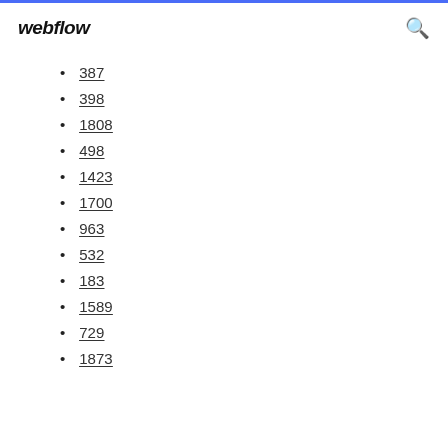webflow
387
398
1808
498
1423
1700
963
532
183
1589
729
1873